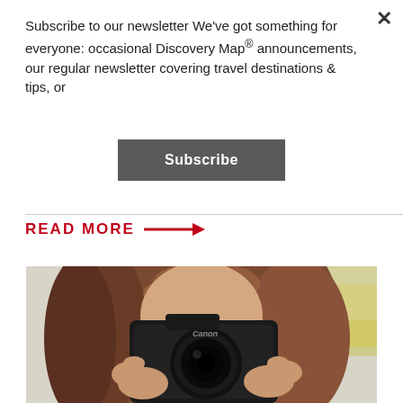Subscribe to our newsletter We've got something for everyone: occasional Discovery Map® announcements, our regular newsletter covering travel destinations & tips, or
Subscribe
READ MORE →
[Figure (photo): Young woman with long brown hair holding a Canon DSLR camera up to her face, photographing outdoors with blurred background]